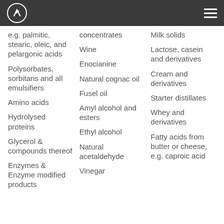e.g. palmitic, stearic, oleic, and pelargonic acids
Polysorbates, sorbitans and all emulsifiers
Amino acids
Hydrolysed proteins
Glycerol & compounds thereof
Enzymes & Enzyme modified products
concentrates
Wine
Enocianine
Natural cognac oil
Fusel oil
Amyl alcohol and esters
Ethyl alcohol
Natural acetaldehyde
Vinegar
Milk solids
Lactose, casein and derivatives
Cream and derivatives
Starter distillates
Whey and derivatives
Fatty acids from butter or cheese, e.g. caproic acid